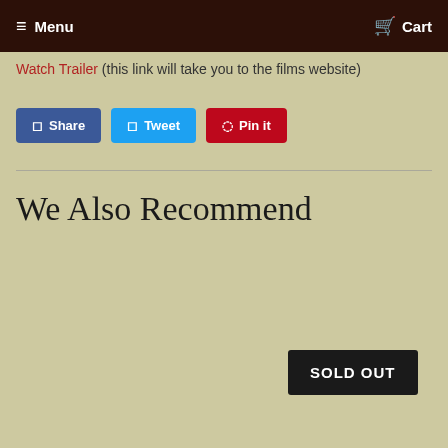≡ Menu   Cart
Watch Trailer (this link will take you to the films website)
[Figure (other): Social sharing buttons: Share (Facebook, blue), Tweet (Twitter, light blue), Pin it (Pinterest, red)]
We Also Recommend
SOLD OUT